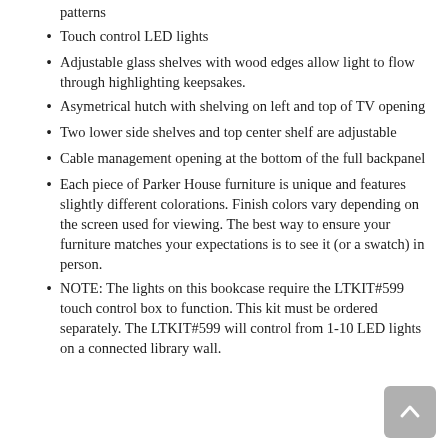patterns
Touch control LED lights
Adjustable glass shelves with wood edges allow light to flow through highlighting keepsakes.
Asymetrical hutch with shelving on left and top of TV opening
Two lower side shelves and top center shelf are adjustable
Cable management opening at the bottom of the full backpanel
Each piece of Parker House furniture is unique and features slightly different colorations. Finish colors vary depending on the screen used for viewing. The best way to ensure your furniture matches your expectations is to see it (or a swatch) in person.
NOTE: The lights on this bookcase require the LTKIT#599 touch control box to function. This kit must be ordered separately. The LTKIT#599 will control from 1-10 LED lights on a connected library wall.